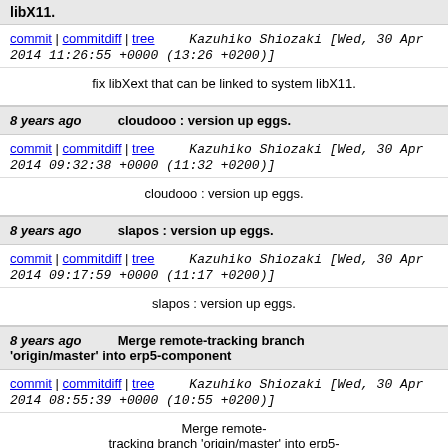libX11.
commit | commitdiff | tree   Kazuhiko Shiozaki [Wed, 30 Apr 2014 11:26:55 +0000 (13:26 +0200)]
fix libXext that can be linked to system libX11.
8 years ago   cloudooo : version up eggs.
commit | commitdiff | tree   Kazuhiko Shiozaki [Wed, 30 Apr 2014 09:32:38 +0000 (11:32 +0200)]
cloudooo : version up eggs.
8 years ago   slapos : version up eggs.
commit | commitdiff | tree   Kazuhiko Shiozaki [Wed, 30 Apr 2014 09:17:59 +0000 (11:17 +0200)]
slapos : version up eggs.
8 years ago   Merge remote-tracking branch 'origin/master' into erp5-component
commit | commitdiff | tree   Kazuhiko Shiozaki [Wed, 30 Apr 2014 08:55:39 +0000 (10:55 +0200)]
Merge remote-tracking branch 'origin/master' into erp5-